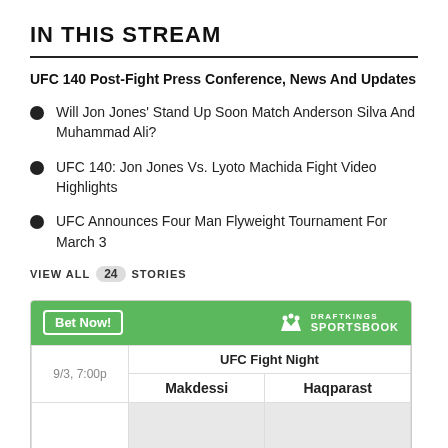IN THIS STREAM
UFC 140 Post-Fight Press Conference, News And Updates
Will Jon Jones' Stand Up Soon Match Anderson Silva And Muhammad Ali?
UFC 140: Jon Jones Vs. Lyoto Machida Fight Video Highlights
UFC Announces Four Man Flyweight Tournament For March 3
VIEW ALL 24 STORIES
[Figure (other): DraftKings Sportsbook betting widget showing UFC Fight Night with Makdessi vs Haqparast on 9/3, 7:00p]